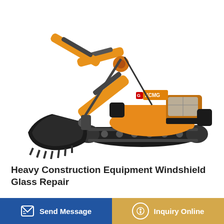[Figure (photo): Yellow XCMG tracked excavator (crawler excavator) on white background, showing articulated arm with bucket extended to the left and cab on the right side, on rubber track undercarriage.]
Heavy Construction Equipment Windshield Glass Repair
Our glass replacement professionals go out to construction sites and work on a lot of cranes, excavators, [partially obscured] f it. W[partially obscured]
Send Message
Inquiry Online